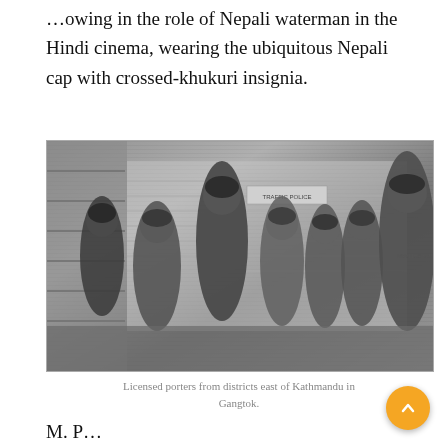…owing in the role of Nepali waterman in the Hindi cinema, wearing the ubiquitous Nepali cap with crossed-khukuri insignia.
[Figure (photo): Black and white photograph of a group of licensed porters from districts east of Kathmandu, posing in Gangtok. Several men stand together in front of what appears to be a building with 'Traffic Police' sign. Men wear dark caps and casual clothing.]
Licensed porters from districts east of Kathmandu in Gangtok.
M. P…